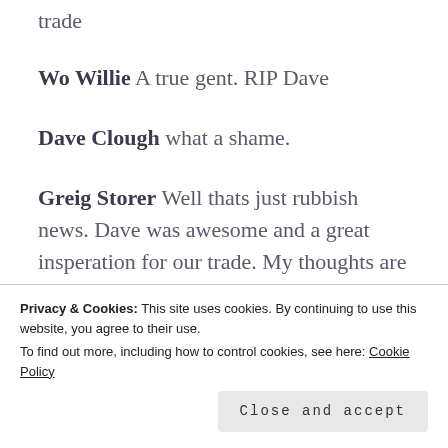trade
Wo Willie A true gent. RIP Dave
Dave Clough what a shame.
Greig Storer Well thats just rubbish news. Dave was awesome and a great insperation for our trade. My thoughts are with his family. Really bad news. R.I.P Mr Sensi 🙂
Privacy & Cookies: This site uses cookies. By continuing to use this website, you agree to their use. To find out more, including how to control cookies, see here: Cookie Policy